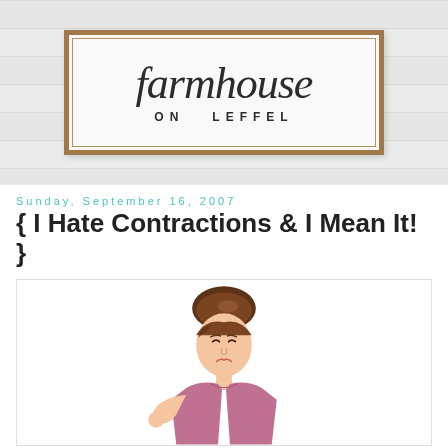[Figure (logo): Farmhouse on Leffel blog header logo — a framed wooden sign with script text 'farmhouse' and block letters 'ON LEFFEL' on a shiplap background]
Sunday, September 16, 2007
{ I Hate Contractions & I Mean It! }
[Figure (illustration): Illustration of a woman with brown hair in a bun, eyes closed, looking uncomfortable, wearing a mauve/pink top, holding her side — suggesting labor contractions]